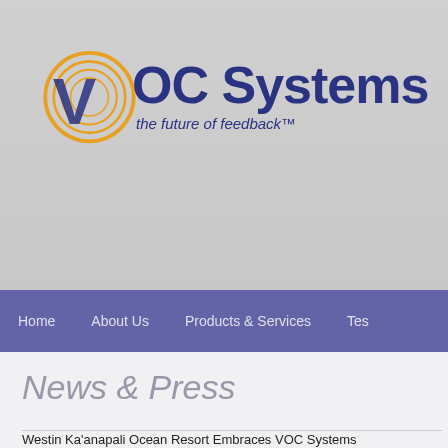[Figure (logo): VOC Systems logo with circular golden ring graphic and dark blue text reading 'VOC Systems' with tagline 'the future of feedback™']
Home   About Us   Products & Services   Tes
News & Press
Westin Ka'anapali Ocean Resort Embraces VOC Systems